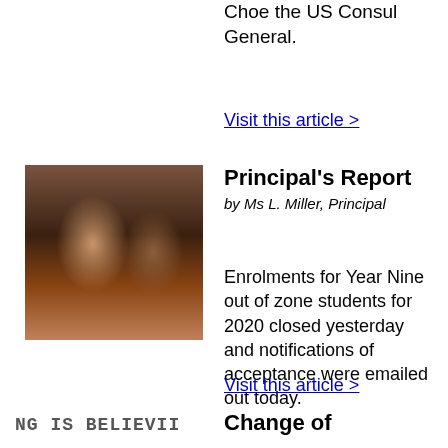Choe the US Consul General.
Visit this article >
[Figure (photo): Two women sitting together in front of library bookshelves]
Principal's Report
by Ms L. Miller, Principal
Enrolments for Year Nine out of zone students for 2020 closed yesterday and notifications of acceptance were emailed out today.
Visit this article >
NG IS BELIEVII
Change of